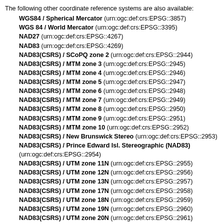The following other coordinate reference systems are also available:
WGS84 / Spherical Mercator (urn:ogc:def:crs:EPSG::3857)
WGS 84 / World Mercator (urn:ogc:def:crs:EPSG::3395)
NAD27 (urn:ogc:def:crs:EPSG::4267)
NAD83 (urn:ogc:def:crs:EPSG::4269)
NAD83(CSRS) / SCoPQ zone 2 (urn:ogc:def:crs:EPSG::2944)
NAD83(CSRS) / MTM zone 3 (urn:ogc:def:crs:EPSG::2945)
NAD83(CSRS) / MTM zone 4 (urn:ogc:def:crs:EPSG::2946)
NAD83(CSRS) / MTM zone 5 (urn:ogc:def:crs:EPSG::2947)
NAD83(CSRS) / MTM zone 6 (urn:ogc:def:crs:EPSG::2948)
NAD83(CSRS) / MTM zone 7 (urn:ogc:def:crs:EPSG::2949)
NAD83(CSRS) / MTM zone 8 (urn:ogc:def:crs:EPSG::2950)
NAD83(CSRS) / MTM zone 9 (urn:ogc:def:crs:EPSG::2951)
NAD83(CSRS) / MTM zone 10 (urn:ogc:def:crs:EPSG::2952)
NAD83(CSRS) / New Brunswick Stereo (urn:ogc:def:crs:EPSG::2953)
NAD83(CSRS) / Prince Edward Isl. Stereographic (NAD83) (urn:ogc:def:crs:EPSG::2954)
NAD83(CSRS) / UTM zone 11N (urn:ogc:def:crs:EPSG::2955)
NAD83(CSRS) / UTM zone 12N (urn:ogc:def:crs:EPSG::2956)
NAD83(CSRS) / UTM zone 13N (urn:ogc:def:crs:EPSG::2957)
NAD83(CSRS) / UTM zone 17N (urn:ogc:def:crs:EPSG::2958)
NAD83(CSRS) / UTM zone 18N (urn:ogc:def:crs:EPSG::2959)
NAD83(CSRS) / UTM zone 19N (urn:ogc:def:crs:EPSG::2960)
NAD83(CSRS) / UTM zone 20N (urn:ogc:def:crs:EPSG::2961)
NAD83(CSRS) / UTM zone 21N (urn:ogc:def:crs:EPSG::2962)
NAD83 / UTM zone 3N (urn:ogc:def:crs:EPSG::26903)
NAD83 / UTM zone 4N (urn:ogc:def:crs:EPSG::26904)
NAD83 / UTM zone 5N (urn:ogc:def:crs:EPSG::26905)
NAD83 / UTM zone 6N (urn:ogc:def:crs:EPSG::26906)
NAD83 / UTM zone 7N (urn:ogc:def:crs:EPSG::26907)